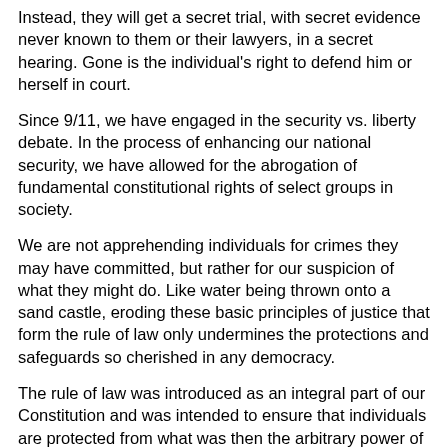Instead, they will get a secret trial, with secret evidence never known to them or their lawyers, in a secret hearing. Gone is the individual's right to defend him or herself in court.
Since 9/11, we have engaged in the security vs. liberty debate. In the process of enhancing our national security, we have allowed for the abrogation of fundamental constitutional rights of select groups in society.
We are not apprehending individuals for crimes they may have committed, but rather for our suspicion of what they might do. Like water being thrown onto a sand castle, eroding these basic principles of justice that form the rule of law only undermines the protections and safeguards so cherished in any democracy.
The rule of law was introduced as an integral part of our Constitution and was intended to ensure that individuals are protected from what was then the arbitrary power of monarchs.
All persons are meant to be ruled by those laws equally, not by the decisions of elected ministers or appointed officials of security agencies.